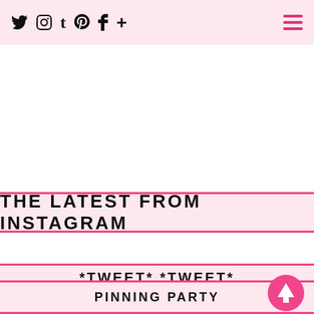Social media navigation bar with icons: Twitter, Instagram, Tumblr, Pinterest, Facebook, Plus, and hamburger menu
THE LATEST FROM INSTAGRAM
*TWEET* *TWEET*
PINNING PARTY